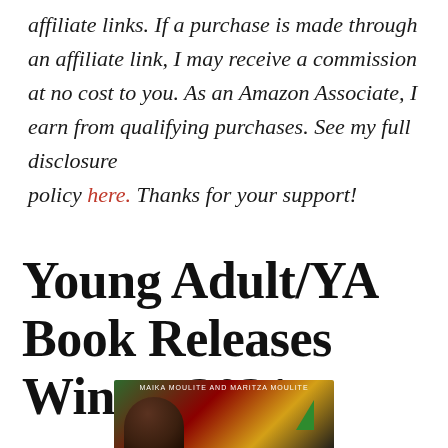affiliate links. If a purchase is made through an affiliate link, I may receive a commission at no cost to you. As an Amazon Associate, I earn from qualifying purchases. See my full disclosure policy here. Thanks for your support!
Young Adult/YA Book Releases Winter 2021
[Figure (photo): Book cover showing authors MAIKA MOULITE AND MARITZA MOULITE with illustrated face and triangle shapes in green, red, and yellow]